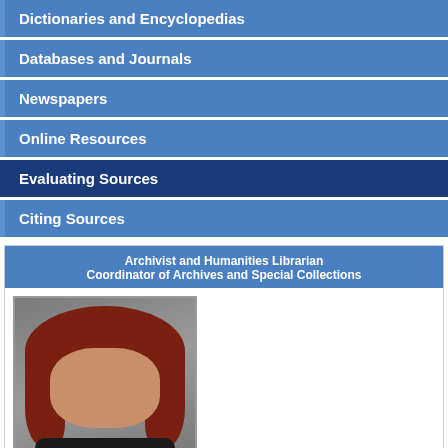Dictionaries and Encyclopedias
Databases and Journals
Newspapers
Online Resources
Evaluating Sources
Citing Sources
Archivist and Humanities Librarian
Coordinator of Archives and Special Collections
[Figure (photo): Portrait photo of a woman with red/auburn hair wearing a dark jacket, against a grey background]